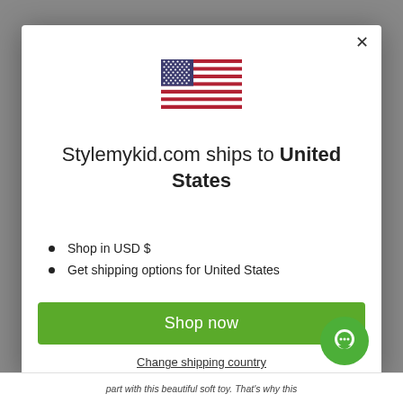FREE SHIPPING FOR ORDERS OVER £30
[Figure (illustration): US flag emoji/icon]
Stylemykid.com ships to United States
Shop in USD $
Get shipping options for United States
Shop now
Change shipping country
part with this beautiful soft toy. That's why this